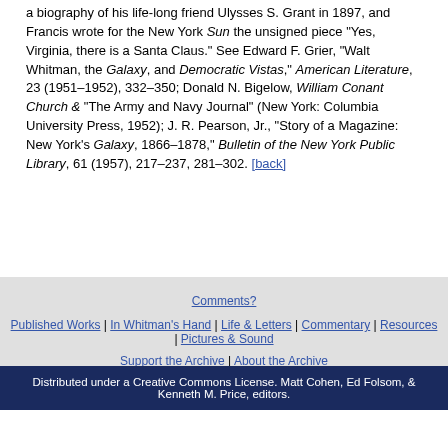a biography of his life-long friend Ulysses S. Grant in 1897, and Francis wrote for the New York Sun the unsigned piece "Yes, Virginia, there is a Santa Claus." See Edward F. Grier, "Walt Whitman, the Galaxy, and Democratic Vistas," American Literature, 23 (1951–1952), 332–350; Donald N. Bigelow, William Conant Church & "The Army and Navy Journal" (New York: Columbia University Press, 1952); J. R. Pearson, Jr., "Story of a Magazine: New York's Galaxy, 1866–1878," Bulletin of the New York Public Library, 61 (1957), 217–237, 281–302. [back]
Comments? | Published Works | In Whitman's Hand | Life & Letters | Commentary | Resources | Pictures & Sound | Support the Archive | About the Archive | Distributed under a Creative Commons License. Matt Cohen, Ed Folsom, & Kenneth M. Price, editors.